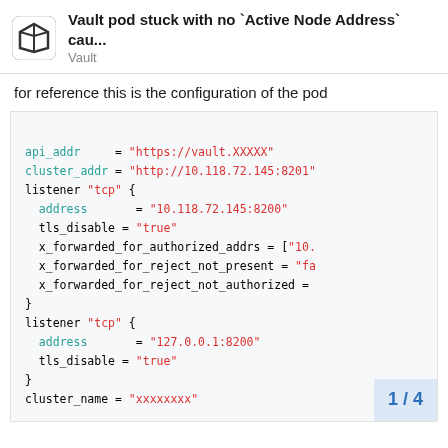Vault pod stuck with no `Active Node Address` cau... Vault
for reference this is the configuration of the pod
[Figure (screenshot): Code block showing Vault HCL configuration with api_addr, cluster_addr, listener blocks with address, tls_disable, x_forwarded_for settings, and cluster_name fields.]
1 / 4